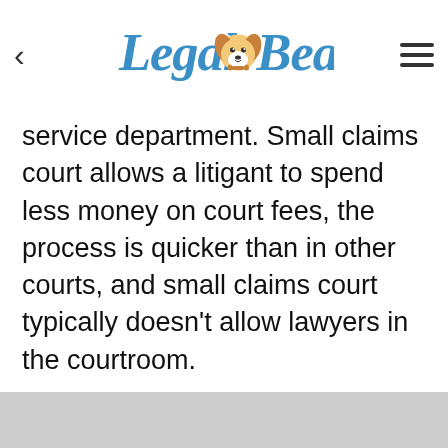Legal Beagle
service department. Small claims court allows a litigant to spend less money on court fees, the process is quicker than in other courts, and small claims court typically doesn't allow lawyers in the courtroom.
[Figure (other): Gray footer bar at bottom of page]